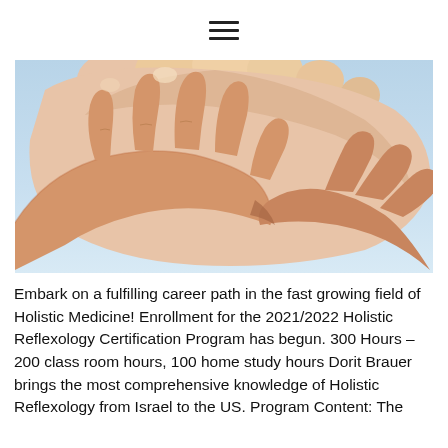≡
[Figure (photo): Close-up photograph of hands performing reflexology massage on a foot, with a blue sky background.]
Embark on a fulfilling career path in the fast growing field of Holistic Medicine! Enrollment for the 2021/2022 Holistic Reflexology Certification Program has begun. 300 Hours – 200 class room hours, 100 home study hours Dorit Brauer brings the most comprehensive knowledge of Holistic Reflexology from Israel to the US. Program Content: The